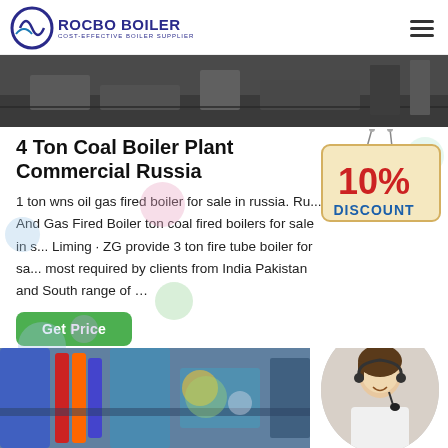ROCBO BOILER — COST-EFFECTIVE BOILER SUPPLIER
[Figure (photo): Industrial boiler plant floor photo, dark tones]
4 Ton Coal Boiler Plant Commercial Russia
[Figure (infographic): 10% DISCOUNT badge/tag graphic]
1 ton wns oil gas fired boiler for sale in russia. Ru... And Gas Fired Boiler ton coal fired boilers for sale in s... Liming · ZG provide 3 ton fire tube boiler for sa... most required by clients from India Pakistan and South range of ...
[Figure (photo): Customer service agent woman with headset, smiling]
[Figure (photo): Industrial boiler equipment photo, blue and red pipes]